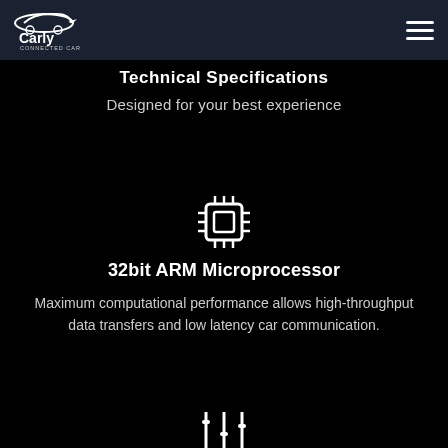Carly Connected Car
Technical Specifications
Designed for your best experience
[Figure (illustration): Chip/microprocessor icon in white]
32bit ARM Microprocessor
Maximum computational performance allows high-throughput data transfers and low latency car communication.
[Figure (illustration): Equalizer/settings icon in white (partially visible at bottom)]